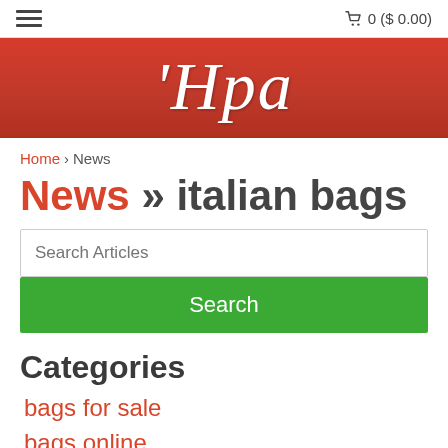≡   🛒 0 ($ 0.00)
[Figure (logo): Red banner with italic serif white text logo reading 'Hpa]
Home › News
News » italian bags
Search Articles
Search
Categories
bags for sale
bags online
best leather bags